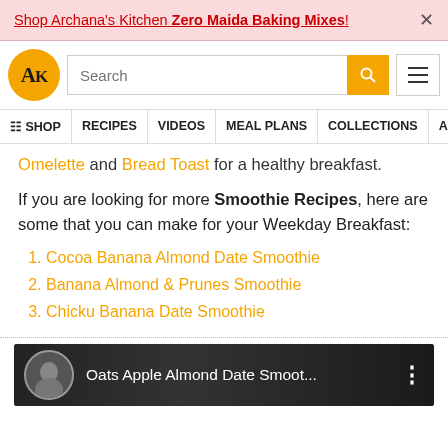Shop Archana's Kitchen Zero Maida Baking Mixes! ×
[Figure (screenshot): Archana's Kitchen website navigation bar with logo, search box, and hamburger menu]
☰ SHOP | RECIPES | VIDEOS | MEAL PLANS | COLLECTIONS | AR
Omelette and Bread Toast for a healthy breakfast.
If you are looking for more Smoothie Recipes, here are some that you can make for your Weekday Breakfast:
1. Cocoa Banana Almond Date Smoothie
2. Banana Almond & Prunes Smoothie
3. Chicku Banana Date Smoothie
[Figure (screenshot): Video thumbnail showing Oats Apple Almond Date Smoot... with avatar and menu dots]